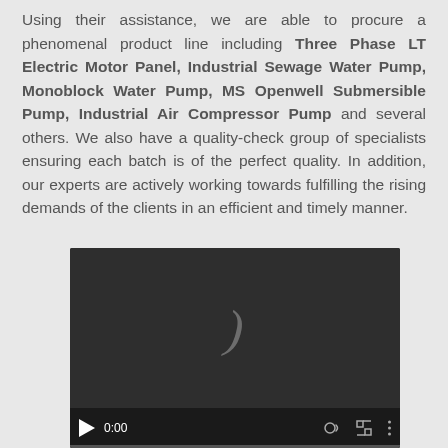Using their assistance, we are able to procure a phenomenal product line including Three Phase LT Electric Motor Panel, Industrial Sewage Water Pump, Monoblock Water Pump, MS Openwell Submersible Pump, Industrial Air Compressor Pump and several others. We also have a quality-check group of specialists ensuring each batch is of the perfect quality. In addition, our experts are actively working towards fulfilling the rising demands of the clients in an efficient and timely manner.
[Figure (other): Embedded video player with dark background showing a parenthesis-like symbol, play button, timestamp 0:00, volume icon, fullscreen icon, and options menu icon]